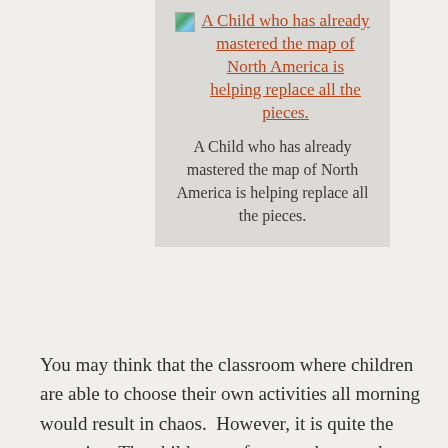[Figure (illustration): Small thumbnail icon of a map (landscape image with green and blue colors), shown as a broken/placeholder image icon]
A Child who has already mastered the map of North America is helping replace all the pieces.
A Child who has already mastered the map of North America is helping replace all the pieces.
You may think that the classroom where children are able to choose their own activities all morning would result in chaos.  However, it is quite the opposite.  The children go from work to work, setting up their table or rug, exploring with the